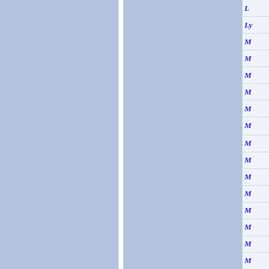[Figure (other): Page showing two large blue-gray columns separated by a white vertical divider on the left, and a narrow right column with white cells containing partially visible blue italic text labels starting with 'L' and 'M' characters, separated by thin horizontal lines.]